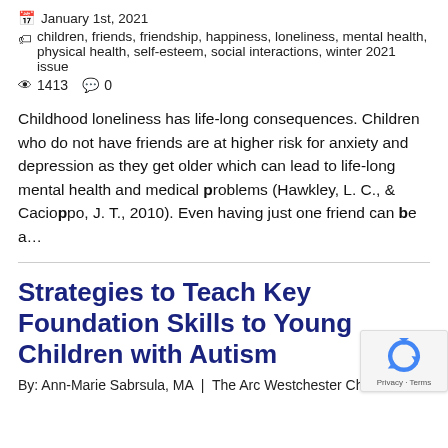📅 January 1st, 2021
🏷 children, friends, friendship, happiness, loneliness, mental health, physical health, self-esteem, social interactions, winter 2021 issue
👁 1413  💬 0
Childhood loneliness has life-long consequences. Children who do not have friends are at higher risk for anxiety and depression as they get older which can lead to life-long mental health and medical problems (Hawkley, L. C., & Cacioppo, J. T., 2010). Even having just one friend can be a…
Strategies to Teach Key Foundation Skills to Young Children with Autism
By: Ann-Marie Sabrsula, MA  |  The Arc Westchester Children's